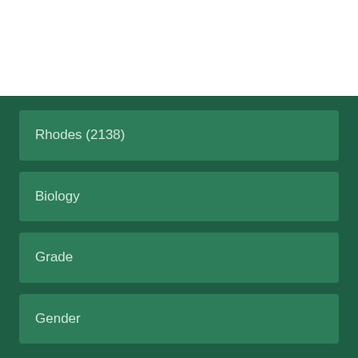Rhodes (2138)
Biology
Grade
Gender